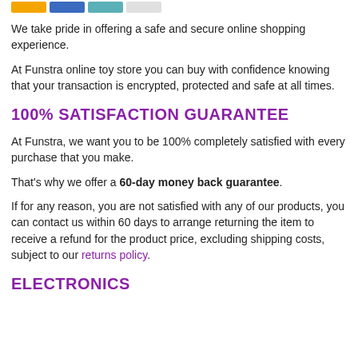[Navigation bar with colored buttons]
We take pride in offering a safe and secure online shopping experience.
At Funstra online toy store you can buy with confidence knowing that your transaction is encrypted, protected and safe at all times.
100% SATISFACTION GUARANTEE
At Funstra, we want you to be 100% completely satisfied with every purchase that you make.
That's why we offer a 60-day money back guarantee.
If for any reason, you are not satisfied with any of our products, you can contact us within 60 days to arrange returning the item to receive a refund for the product price, excluding shipping costs, subject to our returns policy.
ELECTRONICS